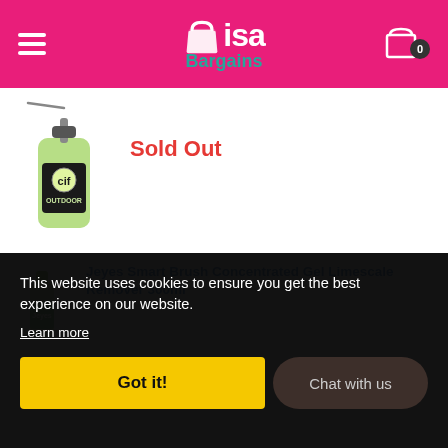[Figure (logo): Misa Bargains logo with shopping bag icon and teal Bargains text on pink header. Hamburger menu on left, cart icon with badge '0' on right.]
[Figure (photo): Cif Outdoor spray bottle product image, green bottle with spray nozzle]
Sold Out
[Figure (photo): Jeyes Smart Brush product image, small green bottle]
Jeyes Smart Brush Concentrated Gel Limescale Remover 300ml
This website uses cookies to ensure you get the best experience on our website.
Learn more
Got it!
Chat with us